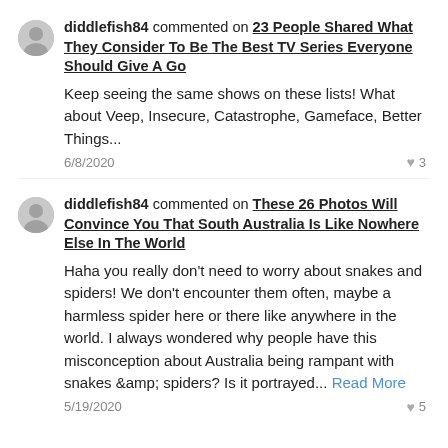diddlefish84 commented on 23 People Shared What They Consider To Be The Best TV Series Everyone Should Give A Go
Keep seeing the same shows on these lists! What about Veep, Insecure, Catastrophe, Gameface, Better Things...
6/8/2020  ♥ 3
diddlefish84 commented on These 26 Photos Will Convince You That South Australia Is Like Nowhere Else In The World
Haha you really don't need to worry about snakes and spiders! We don't encounter them often, maybe a harmless spider here or there like anywhere in the world. I always wondered why people have this misconception about Australia being rampant with snakes &amp; spiders? Is it portrayed... Read More
5/19/2020  ♥ 5